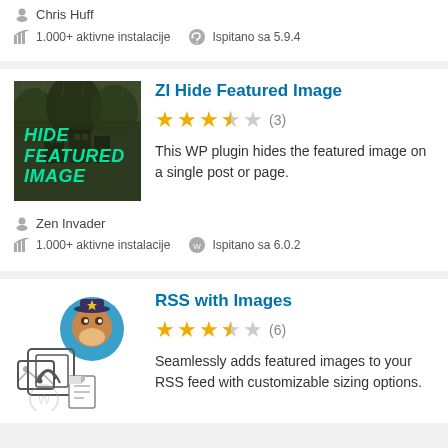Chris Huff
1.000+ aktivne instalacije   Ispitano sa 5.9.4
ZI Hide Featured Image
★★★★☆ (3)
This WP plugin hides the featured image on a single post or page.
Zen Invader
1.000+ aktivne instalacije   Ispitano sa 6.0.2
RSS with Images
★★★★☆ (6)
Seamlessly adds featured images to your RSS feed with customizable sizing options.